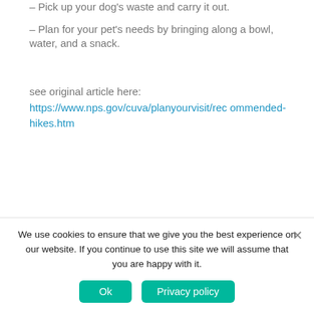– Pick up your dog's waste and carry it out.
– Plan for your pet's needs by bringing along a bowl, water, and a snack.
see original article here: https://www.nps.gov/cuva/planyourvisit/recommended-hikes.htm
[Figure (photo): Partial view of a forest scene with yellow/green foliage and dark tree trunks]
We use cookies to ensure that we give you the best experience on our website. If you continue to use this site we will assume that you are happy with it.